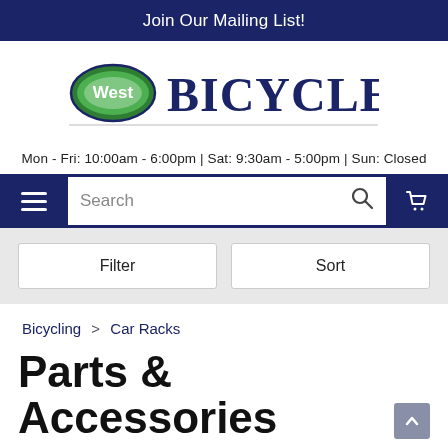Join Our Mailing List!
[Figure (logo): West Bicycles logo with green oval badge and dark blue serif text]
Mon - Fri: 10:00am - 6:00pm | Sat: 9:30am - 5:00pm | Sun: Closed
[Figure (screenshot): Navigation bar with hamburger menu, search field, and cart icon]
[Figure (screenshot): Filter and Sort buttons on grey background]
Bicycling > Car Racks
Parts & Accessories